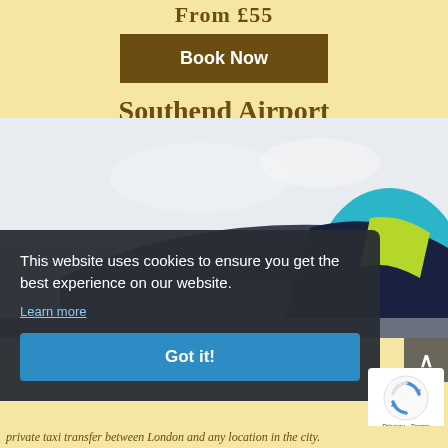From £55
Book Now
Southend Airport
[Figure (photo): Exterior view of Southend Airport terminal building with colorful graphic mural — teal, lime green, dark blue — on the building facade under a pale sky.]
This website uses cookies to ensure you get the best experience on our website.
Learn more
Got it!
private taxi transfer between London and any location in the city.